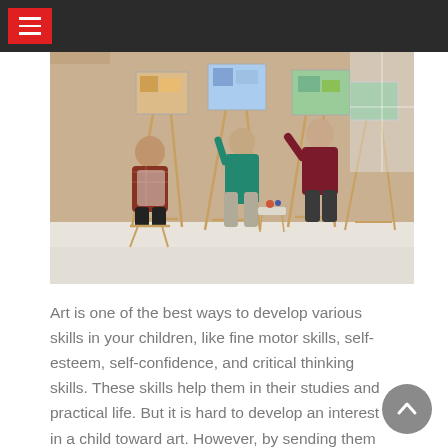[Figure (photo): Art class scene with several adults painting on easels in a bright studio with brick walls. People are seated and standing around easels with colorful paintings.]
Art is one of the best ways to develop various skills in your children, like fine motor skills, self-esteem, self-confidence, and critical thinking skills. These skills help them in their studies and practical life. But it is hard to develop an interest in a child toward art. However, by sending them to art classes in Dubai, you can take the first step to developing an interest.